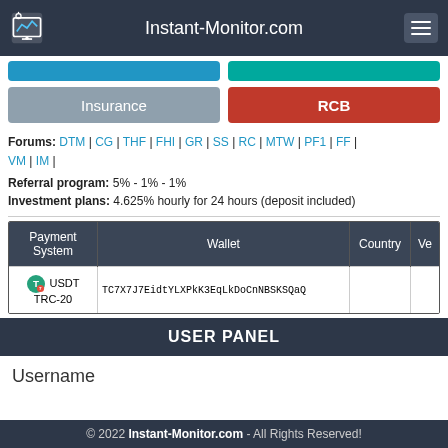Instant-Monitor.com
Insurance | RCB
Forums: DTM | CG | THF | FHI | GR | SS | RC | MTW | PF1 | FF | VM | IM |
Referral program: 5% - 1% - 1%
Investment plans: 4.625% hourly for 24 hours (deposit included)
| Payment System | Wallet | Country | Ve |
| --- | --- | --- | --- |
| USDT TRC-20 | TC7X7J7EidtYLXPkK3EqLkDoCnNBSKSQaQ |  |  |
USER PANEL
Username
© 2022 Instant-Monitor.com - All Rights Reserved!